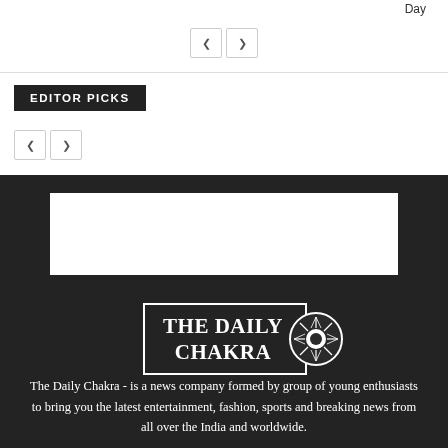Day
EDITOR PICKS
[Figure (logo): The Daily Chakra logo with white border box and Ashoka chakra circle graphic]
The Daily Chakra - is a news company formed by group of young enthusiasts to bring you the latest entertainment, fashion, sports and breaking news from all over the India and worldwide.